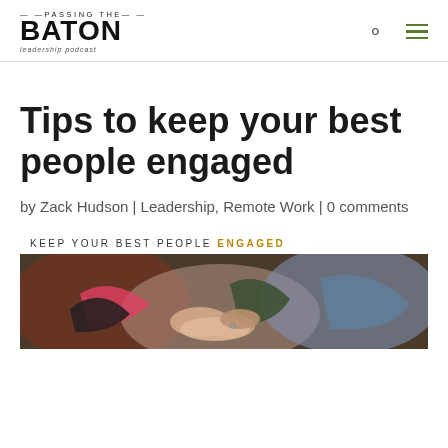PASSING THE BATON — leadership podcast
Tips to keep your best people engaged
by Zack Hudson | Leadership, Remote Work | 0 comments
[Figure (photo): Banner image reading 'KEEP YOUR BEST PEOPLE ENGAGED' above a photo of multiple people's hands stacked together in a team gesture]